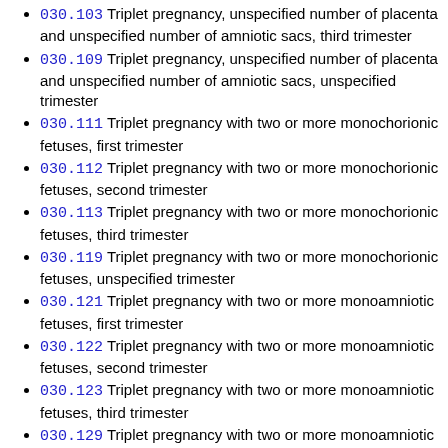030.103 Triplet pregnancy, unspecified number of placenta and unspecified number of amniotic sacs, third trimester
030.109 Triplet pregnancy, unspecified number of placenta and unspecified number of amniotic sacs, unspecified trimester
030.111 Triplet pregnancy with two or more monochorionic fetuses, first trimester
030.112 Triplet pregnancy with two or more monochorionic fetuses, second trimester
030.113 Triplet pregnancy with two or more monochorionic fetuses, third trimester
030.119 Triplet pregnancy with two or more monochorionic fetuses, unspecified trimester
030.121 Triplet pregnancy with two or more monoamniotic fetuses, first trimester
030.122 Triplet pregnancy with two or more monoamniotic fetuses, second trimester
030.123 Triplet pregnancy with two or more monoamniotic fetuses, third trimester
030.129 Triplet pregnancy with two or more monoamniotic fetuses, unspecified trimester
030.131 Triplet pregnancy, trichorionic/triamniotic, first